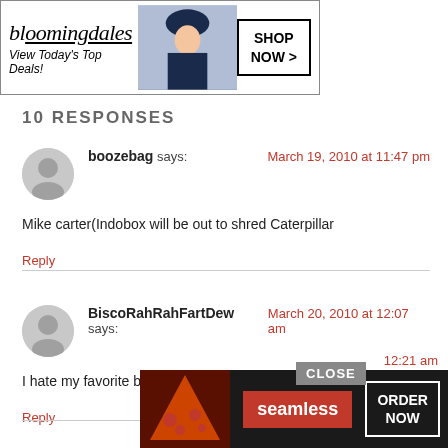[Figure (screenshot): Bloomingdales advertisement banner with model in blue hat. Text: bloomingdales, View Today's Top Deals!, SHOP NOW >]
10 RESPONSES
boozebag says: March 19, 2010 at 11:47 pm
Mike carter(Indobox will be out to shred Caterpillar
Reply
BiscoRahRahFartDew says: March 20, 2010 at 12:07 am
I hate my favorite band so much right now.
Reply
[Figure (screenshot): Seamless food delivery advertisement with pizza image. Text: CLOSE, seamless, ORDER NOW, 12:21 am]